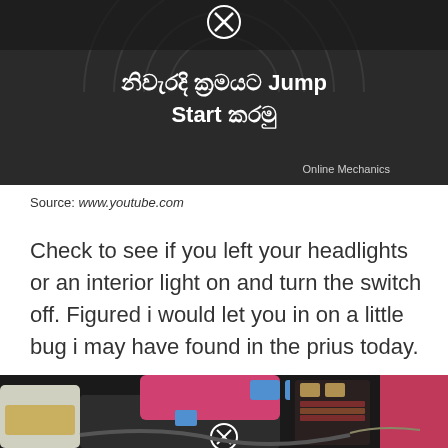[Figure (screenshot): Dark-background video thumbnail with Sinhala and English text reading 'නිවැරදි ක්‍රමයට Jump Start කරමු' and 'Online Mechanics' watermark, showing a car engine bay]
Source: www.youtube.com
Check to see if you left your headlights or an interior light on and turn the switch off. Figured i would let you in on a little bug i may have found in the prius today.
[Figure (photo): Close-up photograph of a car engine bay showing pink car body, fuse box with blue and beige connectors, wiring harness, fluid reservoir, and electronic components]